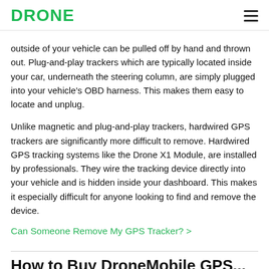DRONE
outside of your vehicle can be pulled off by hand and thrown out. Plug-and-play trackers which are typically located inside your car, underneath the steering column, are simply plugged into your vehicle's OBD harness. This makes them easy to locate and unplug.
Unlike magnetic and plug-and-play trackers, hardwired GPS trackers are significantly more difficult to remove. Hardwired GPS tracking systems like the Drone X1 Module, are installed by professionals. They wire the tracking device directly into your vehicle and is hidden inside your dashboard. This makes it especially difficult for anyone looking to find and remove the device.
Can Someone Remove My GPS Tracker? >
How to Buy DroneMobile GPS...